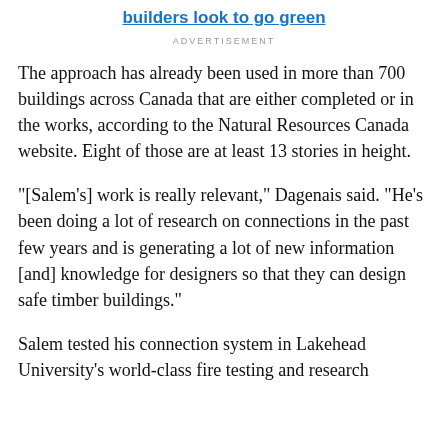builders look to go green
ADVERTISEMENT
The approach has already been used in more than 700 buildings across Canada that are either completed or in the works, according to the Natural Resources Canada website. Eight of those are at least 13 stories in height.
"[Salem's] work is really relevant," Dagenais said. "He's been doing a lot of research on connections in the past few years and is generating a lot of new information [and] knowledge for designers so that they can design safe timber buildings."
Salem tested his connection system in Lakehead University's world-class fire testing and research